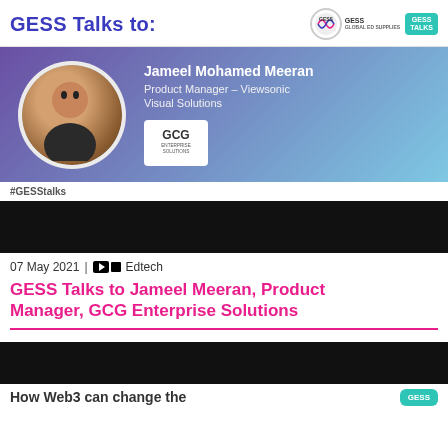GESS Talks to:
[Figure (photo): Banner with photo of Jameel Mohamed Meeran, Product Manager – Viewsonic Visual Solutions, with GCG Enterprise Solutions logo]
#GESStalks
[Figure (screenshot): Black video player block]
07 May 2021 | Edtech
GESS Talks to Jameel Meeran, Product Manager, GCG Enterprise Solutions
[Figure (screenshot): Black video player block (second)]
How Web3 can change the